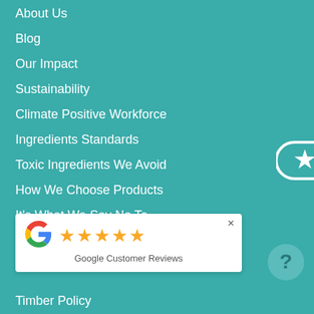About Us
Blog
Our Impact
Sustainability
Climate Positive Workforce
Ingredients Standards
Toxic Ingredients We Avoid
How We Choose Products
It's What We Say No To
Land Acknowledgement
[Figure (other): Circular badge with star icon, white outline on teal background]
[Figure (other): Google Customer Reviews widget showing 5 gold stars and Google G logo with close button]
[Figure (other): Circular help button with question mark, teal on teal background]
Timber Policy